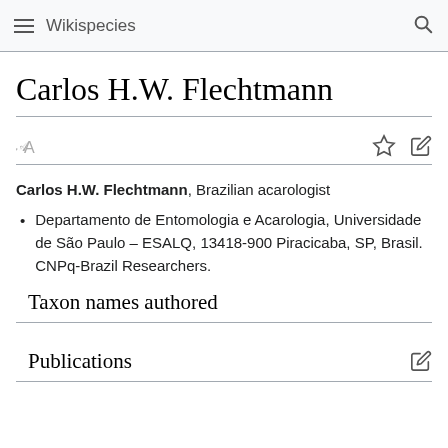Wikispecies
Carlos H.W. Flechtmann
Carlos H.W. Flechtmann, Brazilian acarologist
Departamento de Entomologia e Acarologia, Universidade de São Paulo – ESALQ, 13418-900 Piracicaba, SP, Brasil. CNPq-Brazil Researchers.
Taxon names authored
Publications